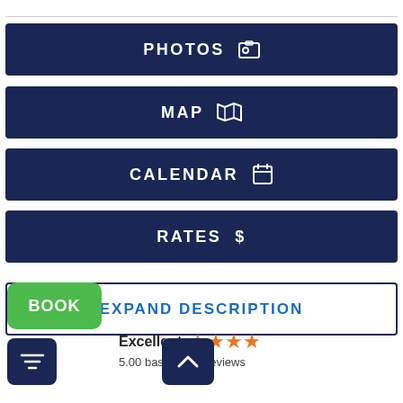PHOTOS
MAP
CALENDAR
RATES $
EXPAND DESCRIPTION
BOOK
Excellent  ★★★★  5.00 based on 1 reviews